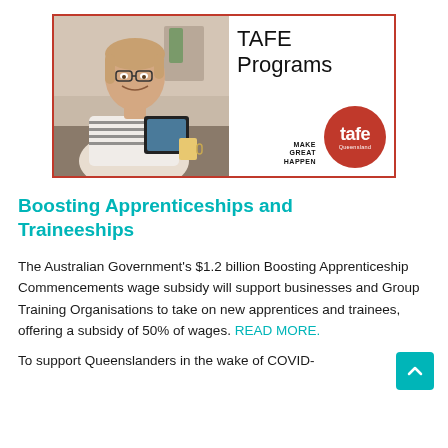[Figure (photo): TAFE Programs promotional banner with a photo of a smiling woman with glasses holding a tablet in a classroom/office setting, and the TAFE Queensland logo with 'MAKE GREAT HAPPEN' text on a red circle.]
Boosting Apprenticeships and Traineeships
The Australian Government's $1.2 billion Boosting Apprenticeship Commencements wage subsidy will support businesses and Group Training Organisations to take on new apprentices and trainees, offering a subsidy of 50% of wages. READ MORE.
To support Queenslanders in the wake of COVID-